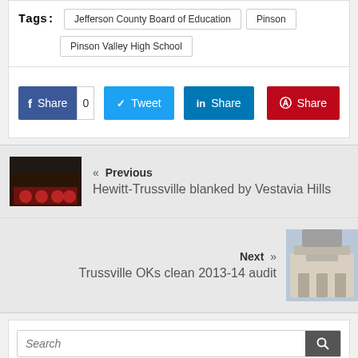Tags: Jefferson County Board of Education | Pinson | Pinson Valley High School
Share | Tweet | Share | Share (social share bar)
« Previous
Hewitt-Trussville blanked by Vestavia Hills
Next »
Trussville OKs clean 2013-14 audit
Search